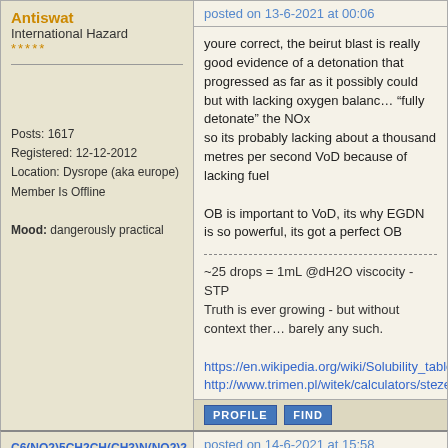Antiswat
International Hazard
*****
Posts: 1617
Registered: 12-12-2012
Location: Dysrope (aka europe)
Member Is Offline
Mood: dangerously practical
posted on 13-6-2021 at 00:06
youre correct, the beirut blast is really good evidence of a detonation that progressed as far as it possibly could but with lacking oxygen balance to "fully detonate" the NOx
so its probably lacking about a thousand metres per second VoD because of lacking fuel

OB is important to VoD, its why EGDN is so powerful, its got a perfect OB
~25 drops = 1mL @dH2O viscocity - STP
Truth is ever growing - but without context there is barely any such.
https://en.wikipedia.org/wiki/Solubility_table
http://www.trimen.pl/witek/calculators/stezenia.
PROFILE    FIND
C6(NO2)5CH2CH(CH3)N(NO2)2
Harmless
*
posted on 14-6-2021 at 15:58
I think tannerite is AN, about 5% Aluminum with...